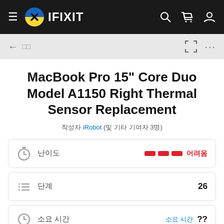IFIXIT
MacBook Pro 15" Core Duo Model A1150 Right Thermal Sensor Replacement
작성자 iRobot (및 기타 기여자 3명)
| 아이콘 | 라벨 | 값 |
| --- | --- | --- |
| ⏱ | 난이도 | 어려움 |
| ☰ | 단계 | 26 |
| 🕐 | 소요 시간 | ?? |